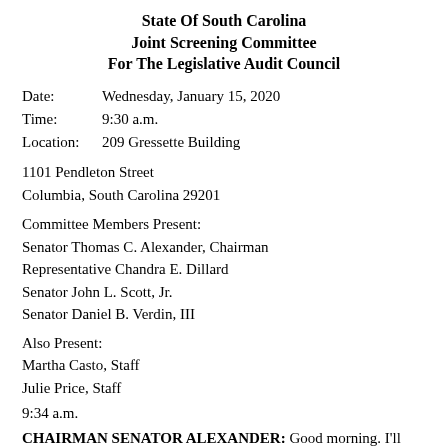State Of South Carolina Joint Screening Committee For The Legislative Audit Council
Date: Wednesday, January 15, 2020
Time: 9:30 a.m.
Location: 209 Gressette Building
1101 Pendleton Street
Columbia, South Carolina 29201
Committee Members Present:
Senator Thomas C. Alexander, Chairman
Representative Chandra E. Dillard
Senator John L. Scott, Jr.
Senator Daniel B. Verdin, III
Also Present:
Martha Casto, Staff
Julie Price, Staff
9:34 a.m.
CHAIRMAN SENATOR ALEXANDER: Good morning. I'll call this meeting of the Joint Screening Committee for the Legislative